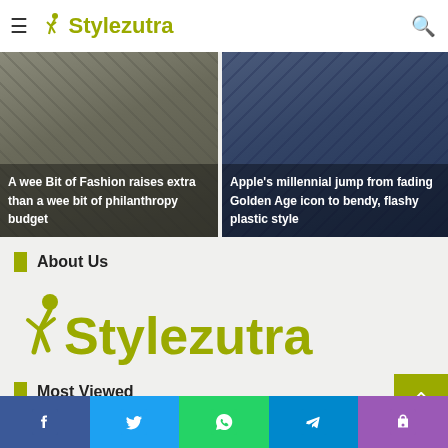≡ Stylezutra 🔍
[Figure (photo): Card image left: A wee Bit of Fashion raises extra than a wee bit of philanthropy budget]
[Figure (photo): Card image right: Apple's millennial jump from fading Golden Age icon to bendy, flashy plastic style]
About Us
[Figure (logo): Stylezutra logo large, olive/yellow-green color with dancer icon]
Most Viewed
[Figure (infographic): Social share bar with Facebook, Twitter, WhatsApp, Telegram, Phone icons]